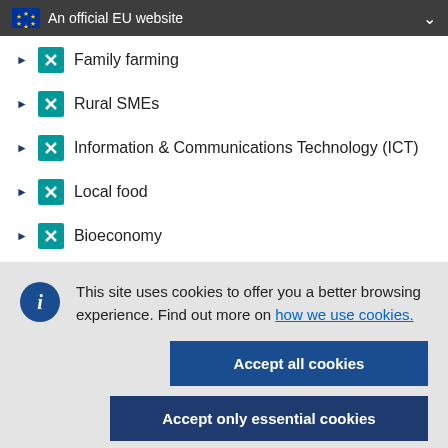An official EU website
Family farming
Rural SMEs
Information & Communications Technology (ICT)
Local food
Bioeconomy
This site uses cookies to offer you a better browsing experience. Find out more on how we use cookies.
Accept all cookies
Accept only essential cookies